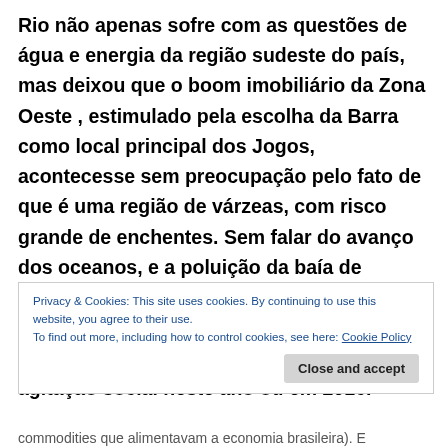Rio não apenas sofre com as questões de água e energia da região sudeste do país, mas deixou que o boom imobiliário da Zona Oeste , estimulado pela escolha da Barra como local principal dos Jogos, acontecesse sem preocupação pelo fato de que é uma região de várzeas, com risco grande de enchentes. Sem falar do avanço dos oceanos, e a poluição da baía de Guanabara e das lagoas da Zona Oeste (que, com a estiagem, só piora). A escassez de água e de energia elétrica poderia levar à agitação social neste ano ou em 2016.
Privacy & Cookies: This site uses cookies. By continuing to use this website, you agree to their use.
To find out more, including how to control cookies, see here: Cookie Policy
Close and accept
commodities que alimentavam a economia brasileira). E